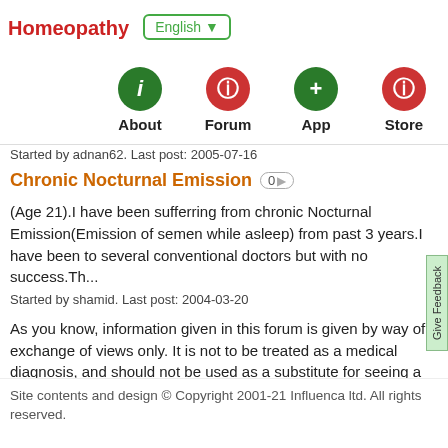Homeopathy | English ▼
[Figure (other): Navigation bar with four icon buttons: About (green circle with i), Forum (red circle with i), App (green circle with +), Store (red circle with i)]
Started by adnan62. Last post: 2005-07-16
Chronic Nocturnal Emission 0
(Age 21).I have been sufferring from chronic Nocturnal Emission(Emission of semen while asleep) from past 3 years.I have been to several conventional doctors but with no success.Th...
Started by shamid. Last post: 2004-03-20
As you know, information given in this forum is given by way of exchange of views only. It is not to be treated as a medical diagnosis, and should not be used as a substitute for seeing a qualified homeopath or physician. In most cases, advice posted here is not given by a medical expert.
If symptoms persist, consult a medical professional.
Site contents and design © Copyright 2001-21 Influenca ltd. All rights reserved.